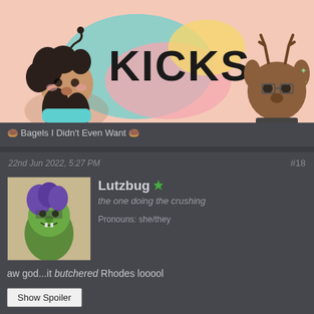[Figure (illustration): Comic banner titled KICKS showing two cartoon animal characters - a bear-like character with curly dark hair on the left and a deer-like character on the right, against a peach background with colorful speech bubbles]
🍩 Bagels I Didn't Even Want 🍩
22nd Jun 2022, 5:27 PM
#18
[Figure (illustration): User avatar showing a green goblin-like cartoon character with purple hair]
Lutzbug
the one doing the crushing
Pronouns: she/they
aw god...it butchered Rhodes looool
Show Spoiler
Twitter | Instagram [mostly inactive for now] | Ko-Fi | Commission Information
[Figure (illustration): Bottom banner showing Krazy Noodle Massacre title text in green with a character figure]